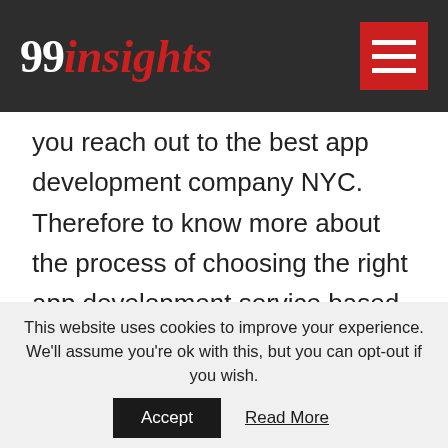99insights
you reach out to the best app development company NYC. Therefore to know more about the process of choosing the right app development service based in NYC, please continue reading this article. I hope you will surely be [...]
Is the Post Helpful?
This website uses cookies to improve your experience. We'll assume you're ok with this, but you can opt-out if you wish.